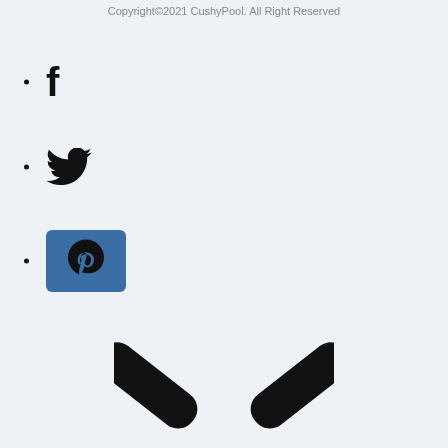Copyright©2021 CushyPool. All Right Reserved
Facebook icon
Twitter icon
Pinterest icon
[Figure (illustration): Chevron / down-arrow icon in black, large, centered near bottom of page]